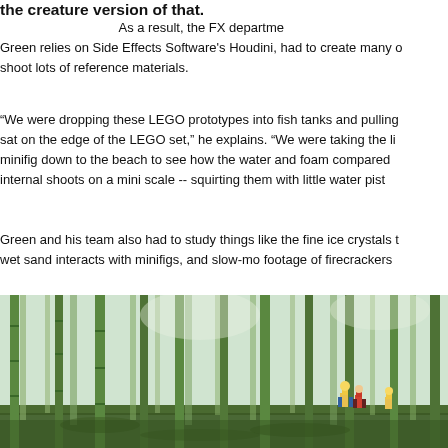the creature version of that.
As a result, the FX department, which Green relies on Side Effects Software's Houdini, had to create many of shoot lots of reference materials.
“We were dropping these LEGO prototypes into fish tanks and pulling sat on the edge of the LEGO set,” he explains. “We were taking the li minifig down to the beach to see how the water and foam compared internal shoots on a mini scale -- squirting them with little water pist
Green and his team also had to study things like the fine ice crystals wet sand interacts with minifigs, and slow-mo footage of firecrackers
[Figure (photo): LEGO minifigures in a photorealistic bamboo forest environment, with green moss on the ground and tall bamboo trees, showing multiple LEGO warrior/samurai minifigs positioned in the scene.]